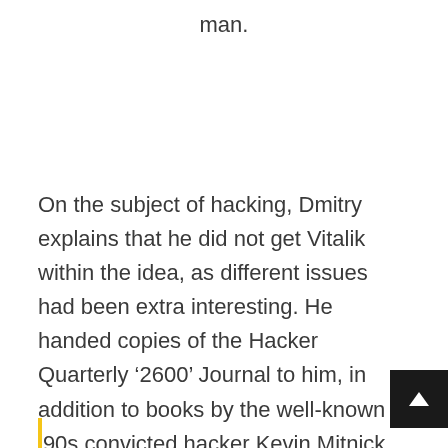man.
On the subject of hacking, Dmitry explains that he did not get Vitalik within the idea, as different issues had been extra interesting. He handed copies of the Hacker Quarterly ‘2600’ Journal to him, in addition to books by the well-known ’90s convicted hacker Kevin Mitnick, who spent two years on the run from the FBI.